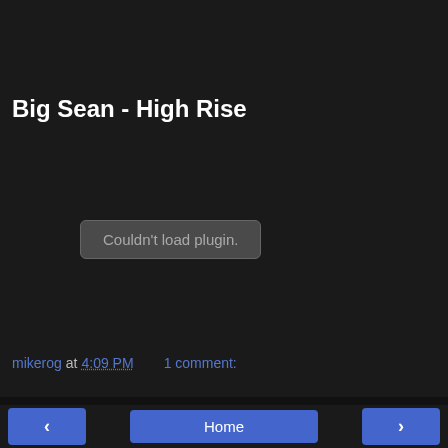Big Sean - High Rise
[Figure (other): Embedded media plugin area showing 'Couldn't load plugin.' error message]
mikerog at 4:09 PM   1 comment:
< Home >